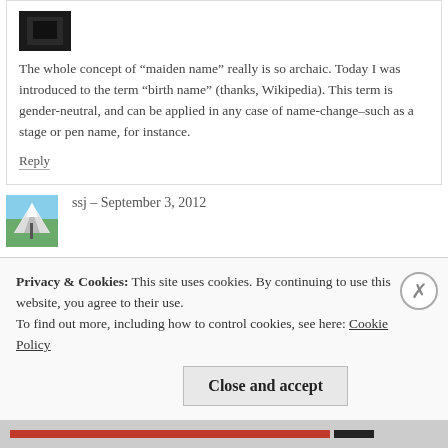[Figure (photo): Small dark avatar image in top-left of comment block]
The whole concept of “maiden name” really is so archaic. Today I was introduced to the term “birth name” (thanks, Wikipedia). This term is gender-neutral, and can be applied in any case of name-change–such as a stage or pen name, for instance.
Reply
[Figure (photo): Avatar photo showing mountain landscape]
ssj – September 3, 2012
I changed my name, and didn’t really think about it. After it was all said
Privacy & Cookies: This site uses cookies. By continuing to use this website, you agree to their use.
To find out more, including how to control cookies, see here: Cookie Policy
Close and accept